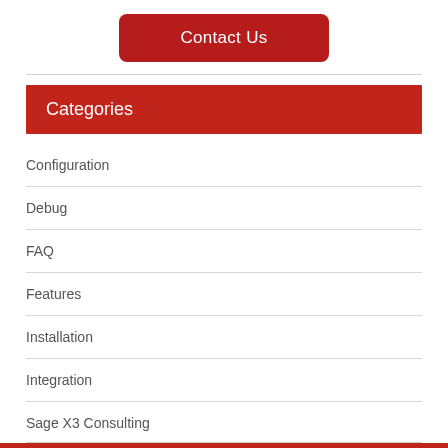Contact Us
Categories
Configuration
Debug
FAQ
Features
Installation
Integration
Sage X3 Consulting
Tips